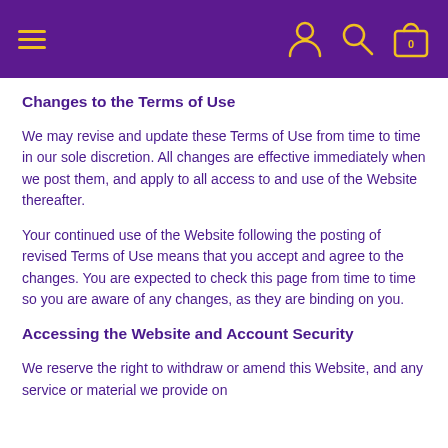Navigation header with hamburger menu, user icon, search icon, and shopping bag icon
Changes to the Terms of Use
We may revise and update these Terms of Use from time to time in our sole discretion. All changes are effective immediately when we post them, and apply to all access to and use of the Website thereafter.
Your continued use of the Website following the posting of revised Terms of Use means that you accept and agree to the changes. You are expected to check this page from time to time so you are aware of any changes, as they are binding on you.
Accessing the Website and Account Security
We reserve the right to withdraw or amend this Website, and any service or material we provide on